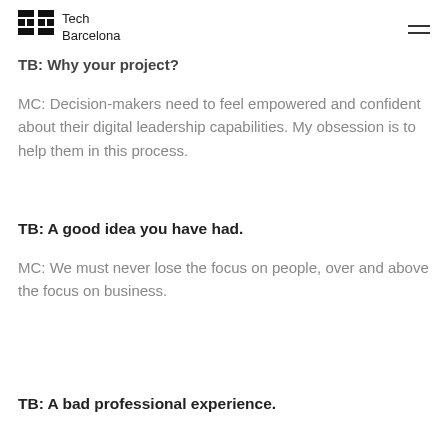Tech Barcelona
TB: Why your project?
MC: Decision-makers need to feel empowered and confident about their digital leadership capabilities. My obsession is to help them in this process.
TB: A good idea you have had.
MC: We must never lose the focus on people, over and above the focus on business.
TB: A bad professional experience.